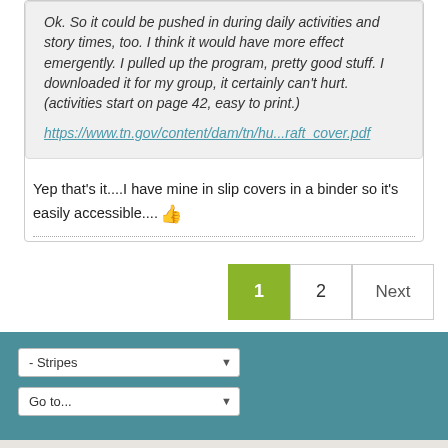Ok. So it could be pushed in during daily activities and story times, too. I think it would have more effect emergently. I pulled up the program, pretty good stuff. I downloaded it for my group, it certainly can't hurt. (activities start on page 42, easy to print.)
https://www.tn.gov/content/dam/tn/hu...raft_cover.pdf
Yep that's it....I have mine in slip covers in a binder so it's easily accessible....👍
1  2  Next
- Stripes
Go to...
Daycare.com LLC
All times are GMT-8. This page was generated at 1 minute ago.